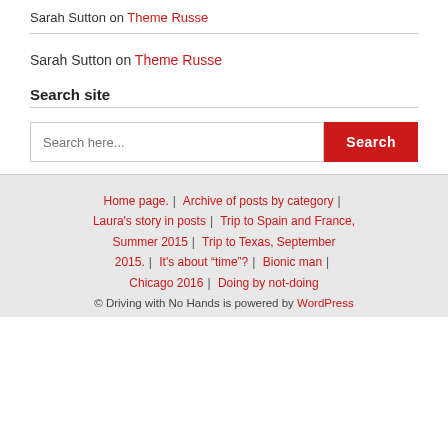Sarah Sutton on Theme Russe
Search site
Search here...  Search
Home page. | Archive of posts by category | Laura's story in posts | Trip to Spain and France, Summer 2015 | Trip to Texas, September 2015. | It's about "time"? | Bionic man | Chicago 2016 | Doing by not-doing
© Driving with No Hands is powered by WordPress